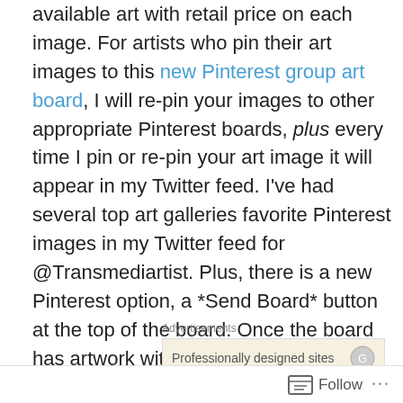available art with retail price on each image. For artists who pin their art images to this new Pinterest group art board, I will re-pin your images to other appropriate Pinterest boards, plus every time I pin or re-pin your art image it will appear in my Twitter feed. I've had several top art galleries favorite Pinterest images in my Twitter feed for @Transmediartist. Plus, there is a new Pinterest option, a *Send Board* button at the top of the board. Once the board has artwork with retail prices I will work to find interior designers and other art buyers to send the board to. As creator of this group board I have curatorial options to remove any images that do not follow the board guidelines, such as lacking retail price or poor image quality.
Advertisements
[Figure (other): Advertisement box with text 'Professionally designed sites' and small icon]
Follow ...